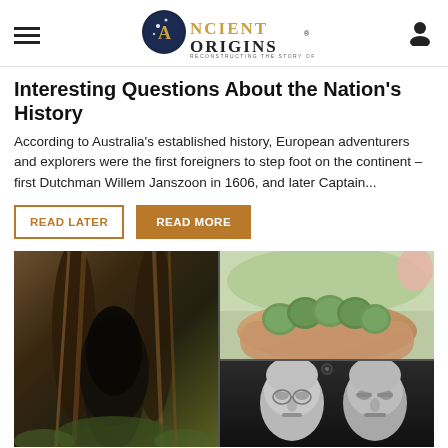Ancient Origins — Reconstructing the Story of Humanity's Past
Interesting Questions About the Nation's History
According to Australia's established history, European adventurers and explorers were the first foreigners to step foot on the continent – first Dutchman Willem Janszoon in 1606, and later Captain...
READ LATER
READ MORE
[Figure (photo): Collage of three images: left shows a dark cave or tree roots forming an archway; top right shows a hand holding several green patinated ancient coins; bottom right shows two 3D reconstructed bald human faces side by side.]